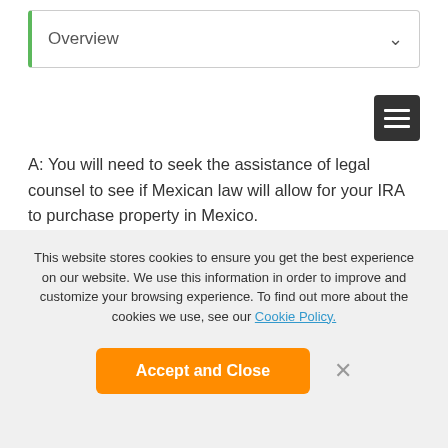Overview
A: You will need to seek the assistance of legal counsel to see if Mexican law will allow for your IRA to purchase property in Mexico.
Q: How do you handle required minimum distributions that are required when you turn 70 ½ ? Do appraisals need to be done annually to determine value of overall assets?
A: Since Required Minimum Distributions (RMDs) are
This website stores cookies to ensure you get the best experience on our website. We use this information in order to improve and customize your browsing experience. To find out more about the cookies we use, see our Cookie Policy.